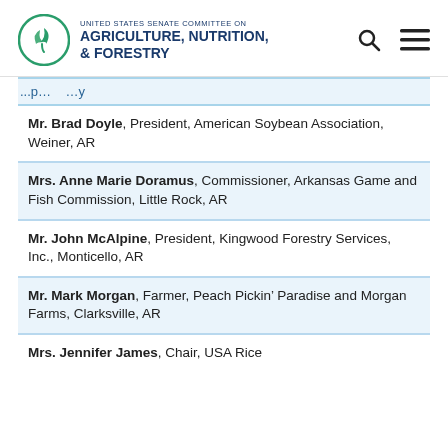United States Senate Committee on Agriculture, Nutrition, & Forestry
[truncated text]
Mr. Brad Doyle, President, American Soybean Association, Weiner, AR
Mrs. Anne Marie Doramus, Commissioner, Arkansas Game and Fish Commission, Little Rock, AR
Mr. John McAlpine, President, Kingwood Forestry Services, Inc., Monticello, AR
Mr. Mark Morgan, Farmer, Peach Pickin' Paradise and Morgan Farms, Clarksville, AR
Mrs. Jennifer James, Chair, USA Rice